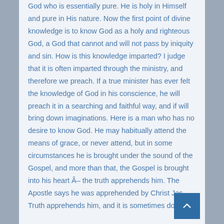God who is essentially pure. He is holy in Himself and pure in His nature. Now the first point of divine knowledge is to know God as a holy and righteous God, a God that cannot and will not pass by iniquity and sin. How is this knowledge imparted? I judge that it is often imparted through the ministry, and therefore we preach. If a true minister has ever felt the knowledge of God in his conscience, he will preach it in a searching and faithful way, and if will bring down imaginations. Here is a man who has no desire to know God. He may habitually attend the means of grace, or never attend, but in some circumstances he is brought under the sound of the Gospel, and more than that, the Gospel is brought into his heart Â– the truth apprehends him. The Apostle says he was apprehended by Christ Jes Truth apprehends him, and it is sometimes done